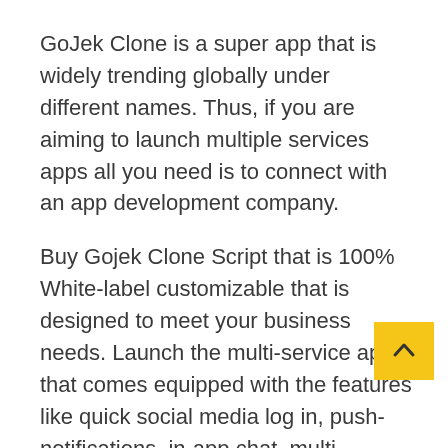GoJek Clone is a super app that is widely trending globally under different names. Thus, if you are aiming to launch multiple services apps all you need is to connect with an app development company.
Buy Gojek Clone Script that is 100% White-label customizable that is designed to meet your business needs. Launch the multi-service app that comes equipped with the features like quick social media log in, push-notifications, in-app chat, multi-payment options, rating, etc.
Reach out to a professional app development company and discuss your dream projects with the team. Furthermore, they will guide you through ensuring you get to launch the best and